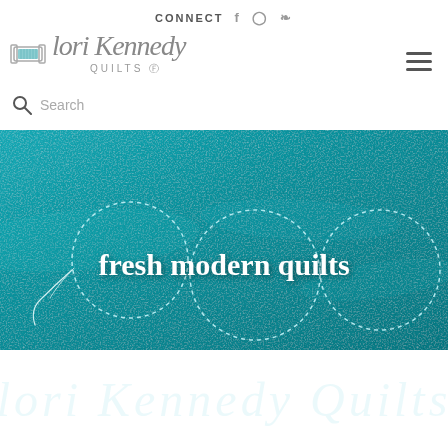CONNECT [social icons: Facebook, Instagram, Pinterest]
[Figure (logo): Lori Kennedy Quilts logo with spool icon and script text]
Search
[Figure (photo): Close-up of teal/turquoise quilt fabric with circular quilting stitch pattern]
fresh modern quilts
[Figure (photo): Teal fabric thumbnail image at bottom of page]